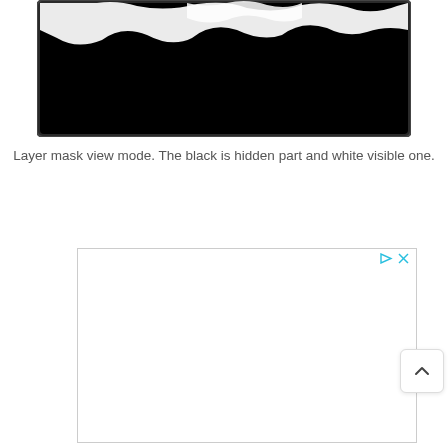[Figure (photo): A dark image showing a layer mask view: mostly black (hidden area) with a white irregular shape visible at the top edge, representing the visible part of the mask. The image has a dark rounded border/frame.]
Layer mask view mode. The black is hidden part and white visible one.
[Figure (screenshot): An advertisement placeholder box with a light border. Top-right has small cyan/teal play and close icons. Content area is blank/white.]